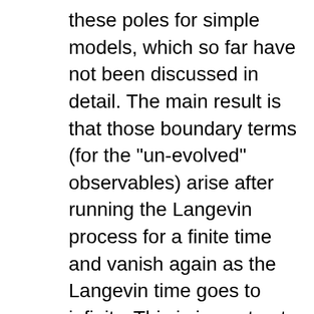these poles for simple models, which so far have not been discussed in detail. The main result is that those boundary terms (for the "un-evolved" observables) arise after running the Langevin process for a finite time and vanish again as the Langevin time goes to infinity. This is in contrast to the boundary terms at infinity, which can be found to occur